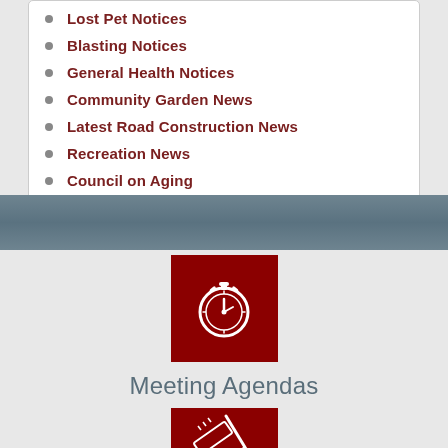Lost Pet Notices
Blasting Notices
General Health Notices
Community Garden News
Latest Road Construction News
Recreation News
Council on Aging
[Figure (infographic): Dark teal/gray horizontal band separator]
[Figure (infographic): Dark red square icon with a white stopwatch/clock symbol]
Meeting Agendas
[Figure (infographic): Dark red square icon with white tools/ruler and pen symbol (partially visible)]